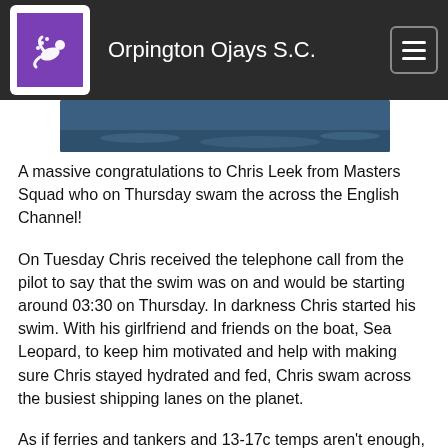Orpington Ojays S.C.
[Figure (photo): Partial image of water/swimming, cropped at top of content area]
A massive congratulations to Chris Leek from Masters Squad who on Thursday swam the across the English Channel!
On Tuesday Chris received the telephone call from the pilot to say that the swim was on and would be starting around 03:30 on Thursday. In darkness Chris started his swim. With his girlfriend and friends on the boat, Sea Leopard, to keep him motivated and help with making sure Chris stayed hydrated and fed, Chris swam across the busiest shipping lanes on the planet.
As if ferries and tankers and 13-17c temps aren't enough, the English Channel is also home to jelly fish. As channel swimmers are not allowed the protection and added buoyancy of a wetsuit another job for those on the boat is to watch for them so they can be avoided if possible. Swimming long distance can be a lonely sport, so for an